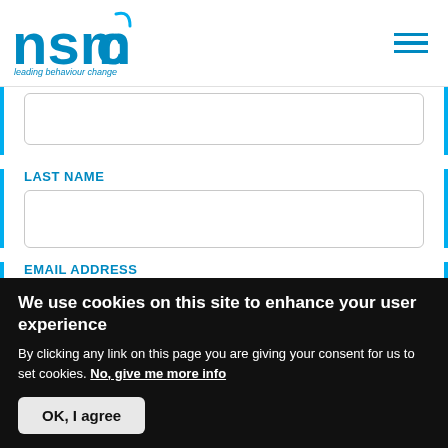[Figure (logo): NSMC logo with text 'leading behaviour change' below]
LAST NAME
EMAIL ADDRESS
We use cookies on this site to enhance your user experience
By clicking any link on this page you are giving your consent for us to set cookies. No, give me more info
OK, I agree